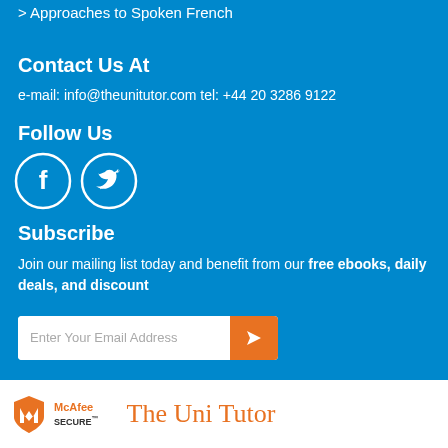> Approaches to Spoken French
Contact Us At
e-mail: info@theunitutor.com tel: +44 20 3286 9122
Follow Us
[Figure (illustration): Facebook and Twitter social media icons (white circle outlines with F and bird logos)]
Subscribe
Join our mailing list today and benefit from our free ebooks, daily deals, and discount
[Figure (other): Email subscription input field with placeholder 'Enter Your Email Address' and orange arrow button]
[Figure (logo): McAfee SECURE badge and The Uni Tutor logo in footer]